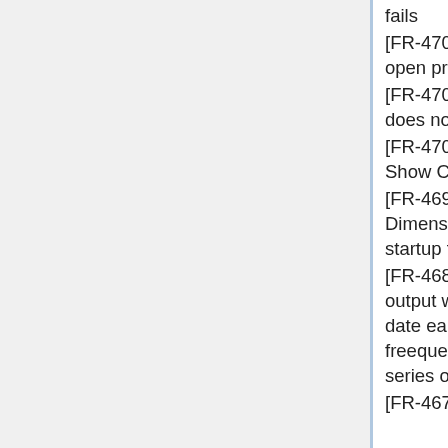fails
[FR-4704] - StaxReader keeping InputStream open preventing temp file deletion
[FR-4705] - Codelist Wizard Step 4 - Show CSV does not honour languages correctly
[FR-4706] - Concept Scheme Wizard Step 4 - Show CSV does not honour languages correctly
[FR-4698] - Data Provider Constraint linked to Dimension which no longer exists causes registry startup to fail
[FR-4685] - EDI - observations not included in output when a series is written which has a start date earlier then any previous series of the same freequency, AND an end date later then any series of the same frequency
[FR-4674] - SDMX 2.0 data incorrectly